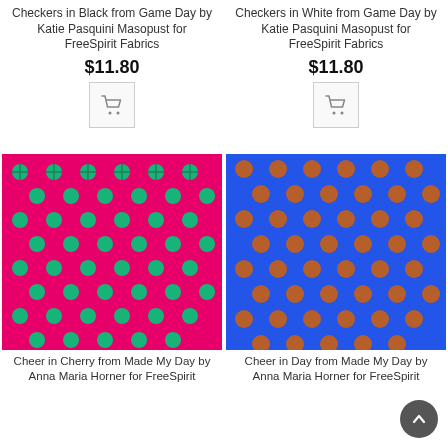Checkers in Black from Game Day by Katie Pasquini Masopust for FreeSpirit Fabrics
$11.80
Checkers in White from Game Day by Katie Pasquini Masopust for FreeSpirit Fabrics
$11.80
[Figure (photo): Pink fabric with teal/green dot pattern - Cheer in Cherry]
[Figure (photo): Blue fabric with orange dot pattern - Cheer in Day]
Cheer in Cherry from Made My Day by Anna Maria Horner for FreeSpirit
Cheer in Day from Made My Day by Anna Maria Horner for FreeSpirit